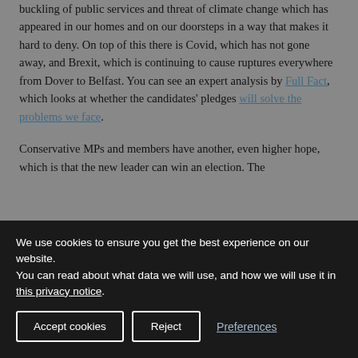buckling of public services and threat of climate change which has appeared in our homes and on our doorsteps in a way that makes it hard to deny. On top of this there is Covid, which has not gone away, and Brexit, which is continuing to cause ruptures everywhere from Dover to Belfast. You can see an expert analysis by Full Fact, which looks at whether the candidates' pledges will solve the problems we face.
Conservative MPs and members have another, even higher hope, which is that the new leader can win an election. The
We use cookies to ensure you get the best experience on our website.
You can read about what data we will use, and how we will use it in this privacy notice.